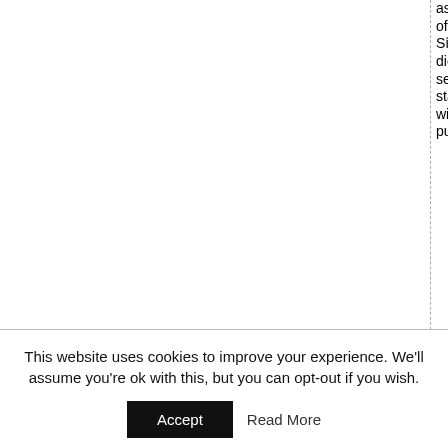ased members of An Garda Síochána, who died in the service of the state together with the general public, who
This website uses cookies to improve your experience. We'll assume you're ok with this, but you can opt-out if you wish.
Accept   Read More